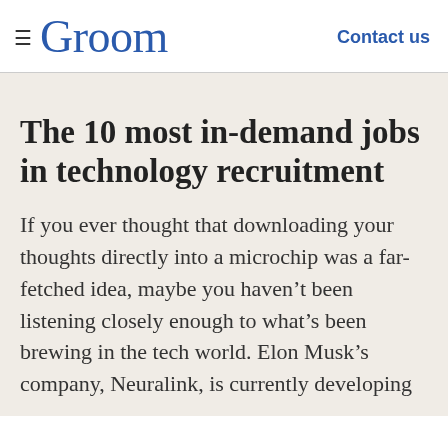≡ Groom    Contact us
The 10 most in-demand jobs in technology recruitment
If you ever thought that downloading your thoughts directly into a microchip was a far-fetched idea, maybe you haven't been listening closely enough to what's been brewing in the tech world. Elon Musk's company, Neuralink, is currently developing